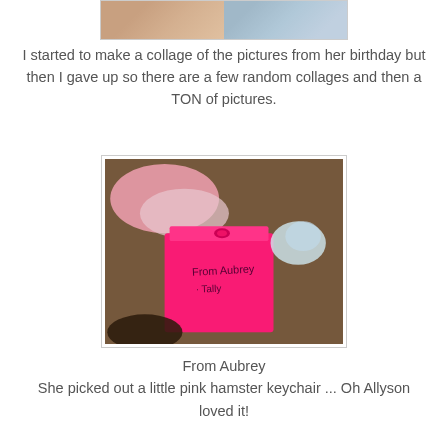[Figure (photo): Partial view of birthday collage photos at top of page]
I started to make a collage of the pictures from her birthday but then I gave up so there are a few random collages and then a TON of pictures.
[Figure (photo): Photo of a pink gift bag on a brown carpet with 'From Aubrey Tally' written on it]
From Aubrey
She picked out a little pink hamster keychair ... Oh Allyson loved it!